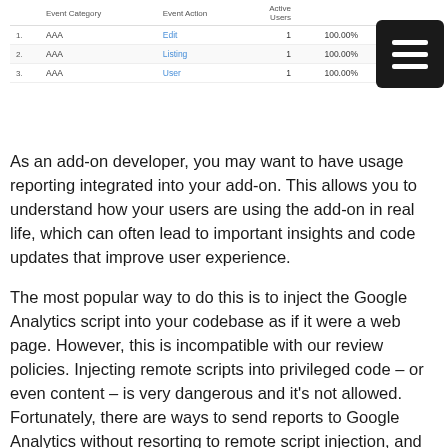|  | Event Category | Event Action | Active Users |  |
| --- | --- | --- | --- | --- |
| 1. | AAA | Edit | 1 | 100.00% |
| 2. | AAA | Listing | 1 | 100.00% |
| 3. | AAA | User | 1 | 100.00% |
As an add-on developer, you may want to have usage reporting integrated into your add-on. This allows you to understand how your users are using the add-on in real life, which can often lead to important insights and code updates that improve user experience.
The most popular way to do this is to inject the Google Analytics script into your codebase as if it were a web page. However, this is incompatible with our review policies. Injecting remote scripts into privileged code – or even content – is very dangerous and it's not allowed. Fortunately, there are ways to send reports to Google Analytics without resorting to remote script injection, and they are very easy to implement.